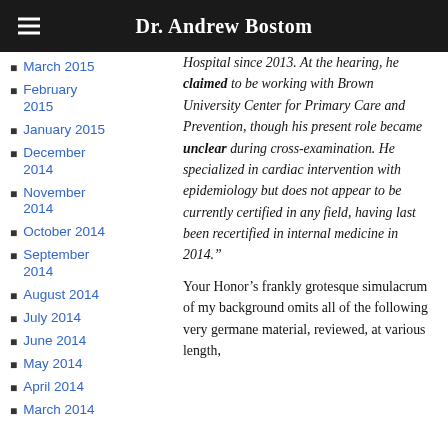Dr. Andrew Bostom
March 2015
February 2015
January 2015
December 2014
November 2014
October 2014
September 2014
August 2014
July 2014
June 2014
May 2014
April 2014
March 2014
Hospital since 2013. At the hearing, he claimed to be working with Brown University Center for Primary Care and Prevention, though his present role became unclear during cross-examination. He specialized in cardiac intervention with epidemiology but does not appear to be currently certified in any field, having last been recertified in internal medicine in 2014."
Your Honor’s frankly grotesque simulacrum of my background omits all of the following very germane material, reviewed, at various length,